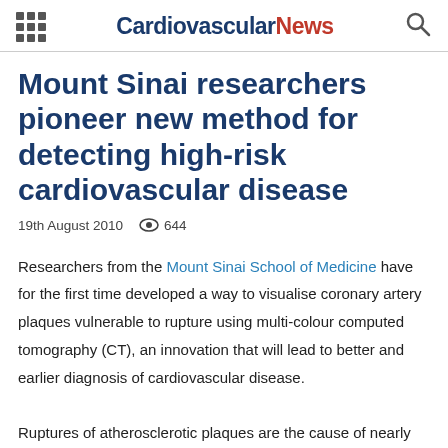Cardiovascular News
Mount Sinai researchers pioneer new method for detecting high-risk cardiovascular disease
19th August 2010   644
Researchers from the Mount Sinai School of Medicine have for the first time developed a way to visualise coronary artery plaques vulnerable to rupture using multi-colour computed tomography (CT), an innovation that will lead to better and earlier diagnosis of cardiovascular disease.
Ruptures of atherosclerotic plaques are the cause of nearly 70% of heart